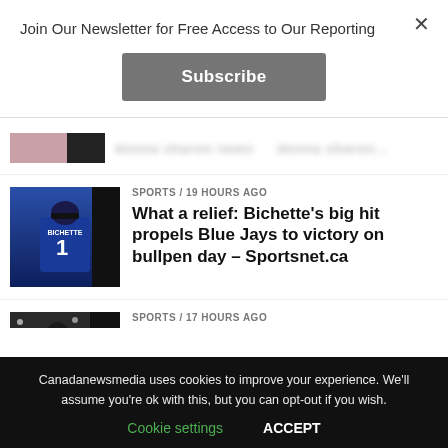Join Our Newsletter for Free Access to Our Reporting
Subscribe
SPORTS / 19 hours ago
What a relief: Bichette's big hit propels Blue Jays to victory on bullpen day – Sportsnet.ca
SPORTS / 17 hours ago
Serena Williams eliminated from U.S. Open – CTV News
HEALTH / 14 hours ago
Canadanewsmedia uses cookies to improve your experience. We'll assume you're ok with this, but you can opt-out if you wish.
Cookie settings
ACCEPT